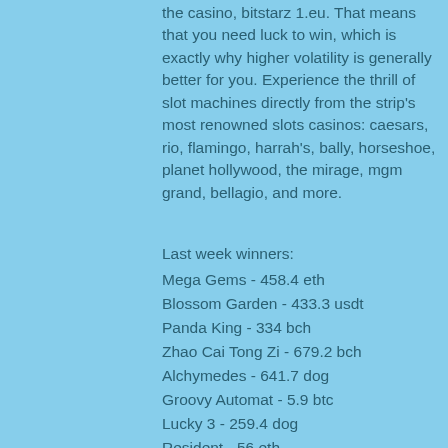the casino, bitstarz 1.eu. That means that you need luck to win, which is exactly why higher volatility is generally better for you. Experience the thrill of slot machines directly from the strip's most renowned slots casinos: caesars, rio, flamingo, harrah's, bally, horseshoe, planet hollywood, the mirage, mgm grand, bellagio, and more.
Last week winners:
Mega Gems - 458.4 eth
Blossom Garden - 433.3 usdt
Panda King - 334 bch
Zhao Cai Tong Zi - 679.2 bch
Alchymedes - 641.7 dog
Groovy Automat - 5.9 btc
Lucky 3 - 259.4 dog
Resident - 56 eth
Demon Jack 27 - 276.7 eth
Frankie Dettori Magic Seven Jackpot - 59.1 bch
Frost Dragon - 433.9 usdt